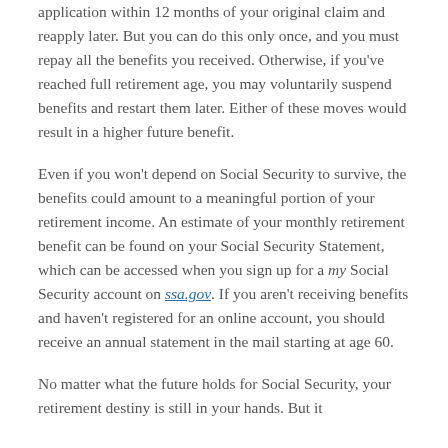application within 12 months of your original claim and reapply later. But you can do this only once, and you must repay all the benefits you received. Otherwise, if you've reached full retirement age, you may voluntarily suspend benefits and restart them later. Either of these moves would result in a higher future benefit.
Even if you won't depend on Social Security to survive, the benefits could amount to a meaningful portion of your retirement income. An estimate of your monthly retirement benefit can be found on your Social Security Statement, which can be accessed when you sign up for a my Social Security account on ssa.gov. If you aren't receiving benefits and haven't registered for an online account, you should receive an annual statement in the mail starting at age 60.
No matter what the future holds for Social Security, your retirement destiny is still in your hands. But it